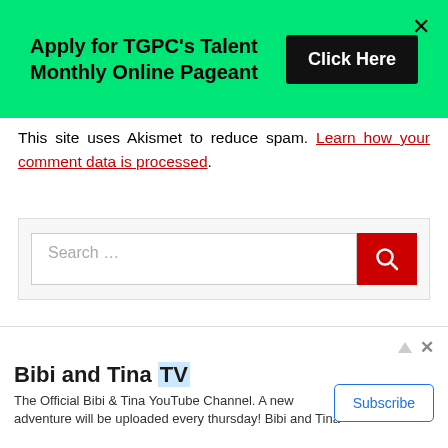[Figure (screenshot): Green banner advertisement: 'Apply for TGPC's Talent Monthly Online Pageant' with a black 'Click Here' button and X close button]
This site uses Akismet to reduce spam. Learn how your comment data is processed.
[Figure (screenshot): Search input box with placeholder 'Search ...' and a red search button with magnifying glass icon]
Advertisements
[Figure (screenshot): Longreads advertisement banner on black background with red circle L logo and LONGREADS text]
[Figure (screenshot): Bottom advertisement bar: Bibi and Tina TV with Subscribe button. Text: The Official Bibi & Tina YouTube Channel. A new adventure will be uploaded every thursday! Bibi and Tina]